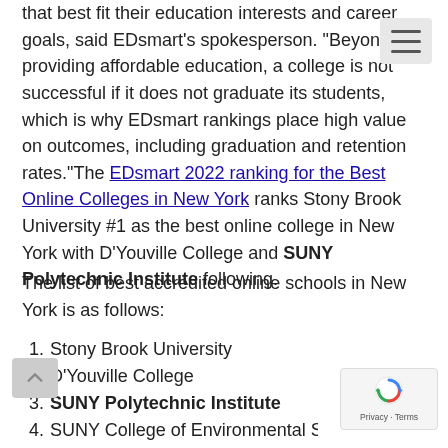that best fit their education interests and career goals, said EDsmart's spokesperson. "Beyond providing affordable education, a college is not successful if it does not graduate its students, which is why EDsmart rankings place high value on outcomes, including graduation and retention rates."The EDsmart 2022 ranking for the Best Online Colleges in New York ranks Stony Brook University #1 as the best online college in New York with D'Youville College and SUNY Polytechnic Institute following.
The list of best accredited online schools in New York is as follows:
1. Stony Brook University
2. D'Youville College
3. SUNY Polytechnic Institute
4. SUNY College of Environmental Science and Fores
5. SUNY Oneonta
6. Roberts Wesleyan College